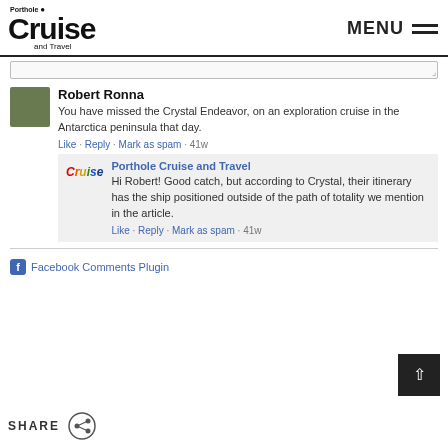Porthole Cruise and Travel — MENU
Robert Ronna
You have missed the Crystal Endeavor, on an exploration cruise in the Antarctica peninsula that day.
Like · Reply · Mark as spam · 41w
Porthole Cruise and Travel
Hi Robert! Good catch, but according to Crystal, their itinerary has the ship positioned outside of the path of totality we mention in the article.
Like · Reply · Mark as spam · 41w
Facebook Comments Plugin
SHARE